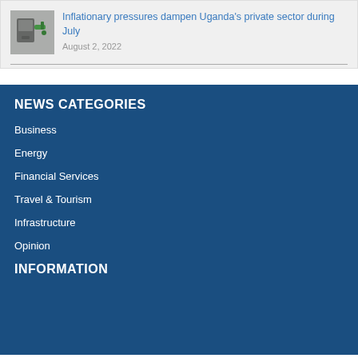[Figure (photo): Photo of a fuel pump nozzle with a green handle, likely at a gas station]
Inflationary pressures dampen Uganda's private sector during July
August 2, 2022
NEWS CATEGORIES
Business
Energy
Financial Services
Travel & Tourism
Infrastructure
Opinion
INFORMATION